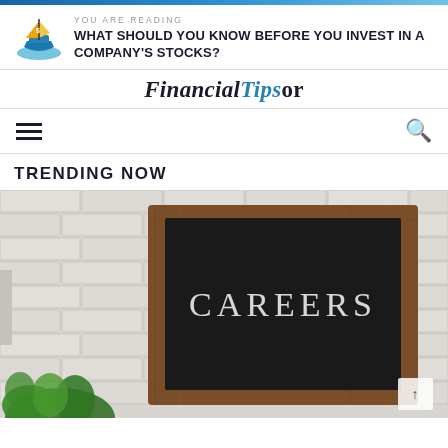YOU ARE READING
WHAT SHOULD YOU KNOW BEFORE YOU INVEST IN A COMPANY'S STOCKS?
FinancialTipsor
TRENDING NOW
[Figure (photo): A chalkboard sign with the word CAREERS written in chalk lettering, framed in a wooden frame, set against a white brick wall with a green plant at the bottom left corner.]